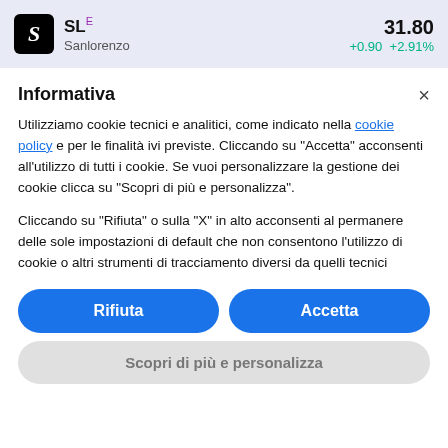SL E  Sanlorenzo  31.80  +0.90 +2.91%
Informativa
Utilizziamo cookie tecnici e analitici, come indicato nella cookie policy e per le finalità ivi previste. Cliccando su "Accetta" acconsenti all'utilizzo di tutti i cookie. Se vuoi personalizzare la gestione dei cookie clicca su "Scopri di più e personalizza".

Cliccando su "Rifiuta" o sulla "X" in alto acconsenti al permanere delle sole impostazioni di default che non consentono l'utilizzo di cookie o altri strumenti di tracciamento diversi da quelli tecnici